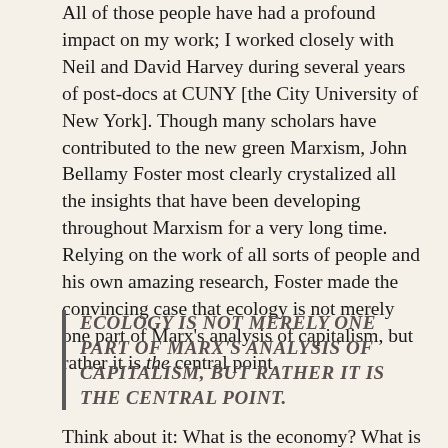All of those people have had a profound impact on my work; I worked closely with Neil and David Harvey during several years of post-docs at CUNY [the City University of New York]. Though many scholars have contributed to the new green Marxism, John Bellamy Foster most clearly crystalized all the insights that have been developing throughout Marxism for a very long time. Relying on the work of all sorts of people and his own amazing research, Foster made the convincing case that ecology is not merely one part of Marx's analysis of capitalism, but rather it is the central point.
ECOLOGY IS NOT MERELY ONE PART OF MARX'S ANALYSIS OF CAPITALISM, BUT RATHER IT IS THE CENTRAL POINT.
Think about it: What is the economy? What is a